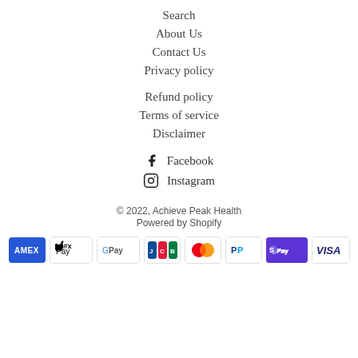Search
About Us
Contact Us
Privacy policy
Refund policy
Terms of service
Disclaimer
Facebook
Instagram
© 2022, Achieve Peak Health
Powered by Shopify
[Figure (other): Payment method icons: American Express, Apple Pay, Google Pay, JCB, Mastercard, PayPal, Shop Pay, Visa]